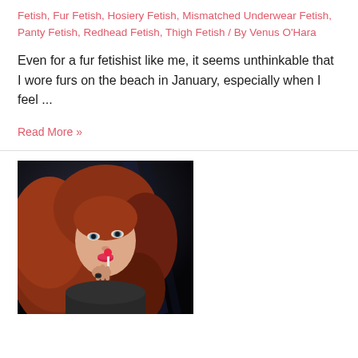Fetish, Fur Fetish, Hosiery Fetish, Mismatched Underwear Fetish, Panty Fetish, Redhead Fetish, Thigh Fetish / By Venus O'Hara
Even for a fur fetishist like me, it seems unthinkable that I wore furs on the beach in January, especially when I feel ...
Read More »
[Figure (photo): A redhead woman with long auburn hair, looking upward, holding something near her lips, photographed against a dark background]